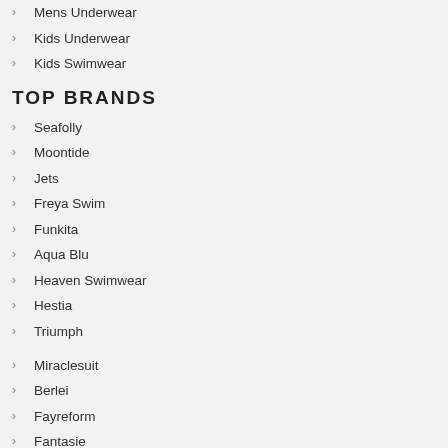Mens Underwear
Kids Underwear
Kids Swimwear
TOP BRANDS
Seafolly
Moontide
Jets
Freya Swim
Funkita
Aqua Blu
Heaven Swimwear
Hestia
Triumph
Miraclesuit
Berlei
Fayreform
Fantasie
Bendon
Playtex
Funky Trunks
Bonds